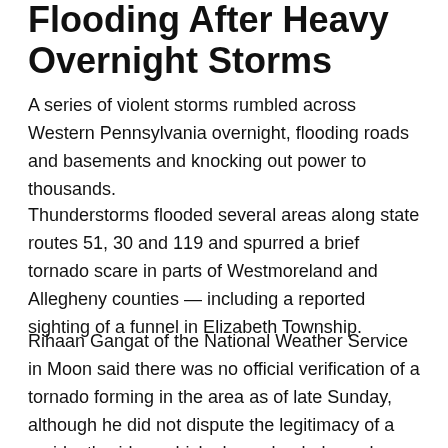Flooding After Heavy Overnight Storms
A series of violent storms rumbled across Western Pennsylvania overnight, flooding roads and basements and knocking out power to thousands.
Thunderstorms flooded several areas along state routes 51, 30 and 119 and spurred a brief tornado scare in parts of Westmoreland and Allegheny counties — including a reported sighting of a funnel in Elizabeth Township.
Rihaan Gangat of the National Weather Service in Moon said there was no official verification of a tornado forming in the area as of late Sunday, although he did not dispute the legitimacy of a resident's video, which showed a dark, wedge-shaped object.